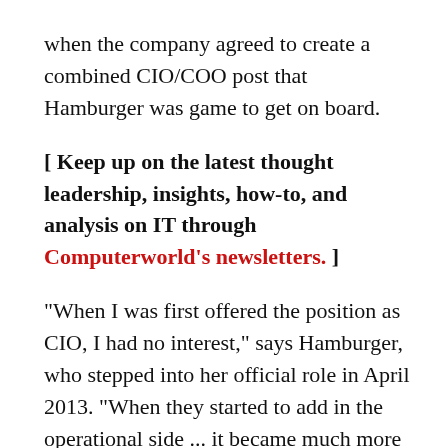when the company agreed to create a combined CIO/COO post that Hamburger was game to get on board.
[ Keep up on the latest thought leadership, insights, how-to, and analysis on IT through Computerworld's newsletters. ]
"When I was first offered the position as CIO, I had no interest," says Hamburger, who stepped into her official role in April 2013. "When they started to add in the operational side ... it became much more interesting. This was a 65-year-old company in need of a technical reinvention. I had to have [responsibility] for enough of the business that I could control my